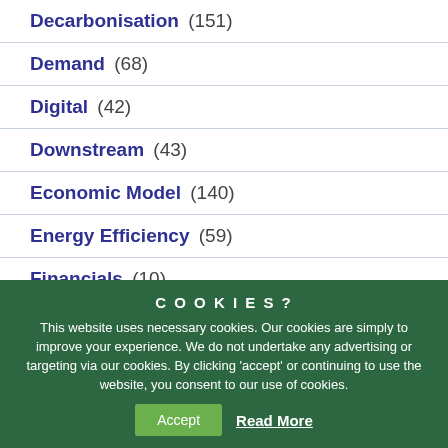Decarbonisation (151)
Demand (68)
Digital (42)
Downstream (43)
Economic Model (140)
Energy Efficiency (59)
Financials (10)
COOKIES? This website uses necessary cookies. Our cookies are simply to improve your experience. We do not undertake any advertising or targeting via our cookies. By clicking 'accept' or continuing to use the website, you consent to our use of cookies.